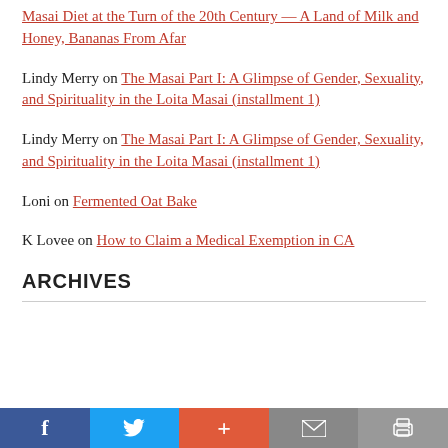Masai Diet at the Turn of the 20th Century — A Land of Milk and Honey, Bananas From Afar
Lindy Merry on The Masai Part I: A Glimpse of Gender, Sexuality, and Spirituality in the Loita Masai (installment 1)
Lindy Merry on The Masai Part I: A Glimpse of Gender, Sexuality, and Spirituality in the Loita Masai (installment 1)
Loni on Fermented Oat Bake
K Lovee on How to Claim a Medical Exemption in CA
ARCHIVES
Social share bar: Facebook, Twitter, Plus, Email, Print